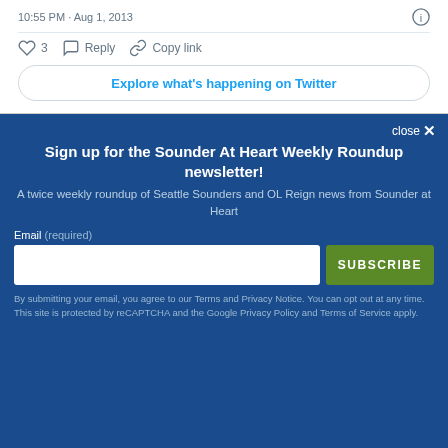10:55 PM · Aug 1, 2013
3  Reply  Copy link
Explore what's happening on Twitter
close ×
Sign up for the Sounder At Heart Weekly Roundup newsletter!
A twice weekly roundup of Seattle Sounders and OL Reign news from Sounder at Heart
Email (required)
SUBSCRIBE
By submitting your email, you agree to our Terms and Privacy Notice. You can opt out at any time. This site is protected by reCAPTCHA and the Google Privacy Policy and Terms of Service apply.